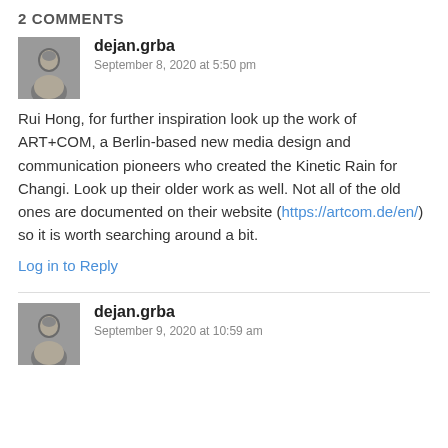2 COMMENTS
dejan.grba
September 8, 2020 at 5:50 pm
Rui Hong, for further inspiration look up the work of ART+COM, a Berlin-based new media design and communication pioneers who created the Kinetic Rain for Changi. Look up their older work as well. Not all of the old ones are documented on their website (https://artcom.de/en/) so it is worth searching around a bit.
Log in to Reply
dejan.grba
September 9, 2020 at 10:59 am